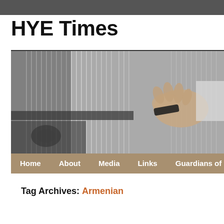[Figure (photo): Dark gray strip at top of page representing a cropped banner image background.]
HYE Times
[Figure (photo): Black and white photograph of hands working on a traditional loom or weaving instrument, with strings/threads visible. Below the photo is a navigation bar with links: Home, About, Media, Links, Guardians of M...]
Tag Archives: Armenian